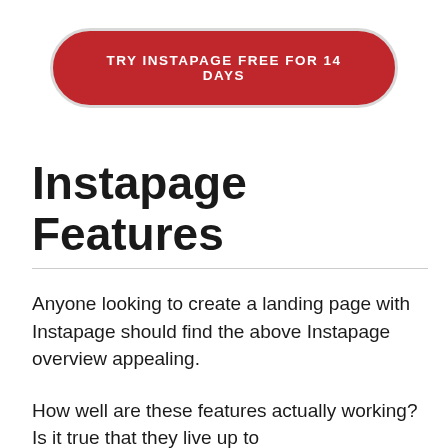[Figure (other): Red rounded rectangle CTA button with white uppercase text: TRY INSTAPAGE FREE FOR 14 DAYS]
Instapage Features
Anyone looking to create a landing page with Instapage should find the above Instapage overview appealing.
How well are these features actually working? Is it true that they live up to